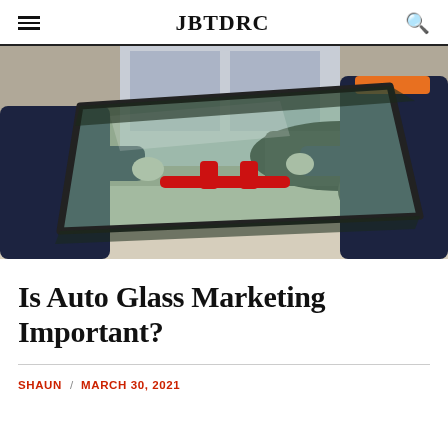JBTDRC
[Figure (photo): Two workers in dark coveralls carrying a large automotive windshield in a car dealership or garage setting. The glass is tinted green and has a red suction cup handle. A black car is visible in the background.]
Is Auto Glass Marketing Important?
SHAUN / MARCH 30, 2021